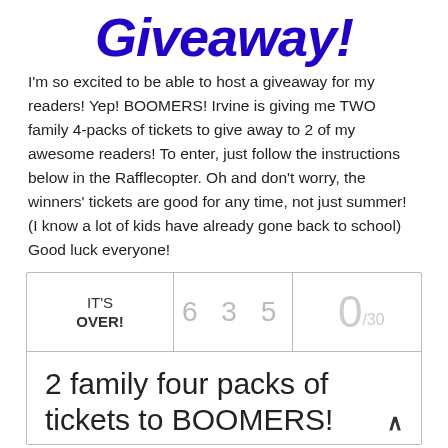Giveaway!
I'm so excited to be able to host a giveaway for my readers! Yep! BOOMERS! Irvine is giving me TWO family 4-packs of tickets to give away to 2 of my awesome readers! To enter, just follow the instructions below in the Rafflecopter. Oh and don't worry, the winners' tickets are good for any time, not just summer! (I know a lot of kids have already gone back to school) Good luck everyone!
| IT'S OVER! | 6 3 5 | 0/30 |
| --- | --- | --- |
| 2 family four packs of tickets to BOOMERS! |  |  |